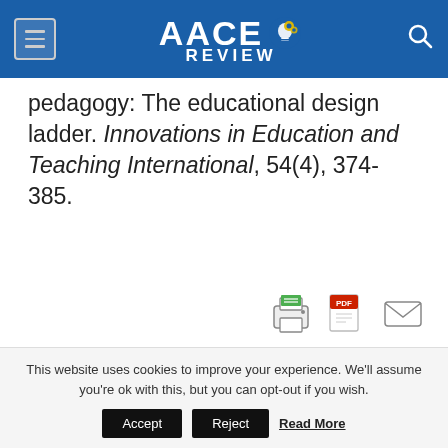AACE REVIEW
pedagogy: The educational design ladder. Innovations in Education and Teaching International, 54(4), 374-385.
[Figure (other): Row of three icons: print, PDF, and email share icons]
Share this:
Twitter  Facebook  LinkedIn
This website uses cookies to improve your experience. We'll assume you're ok with this, but you can opt-out if you wish. Accept  Reject  Read More